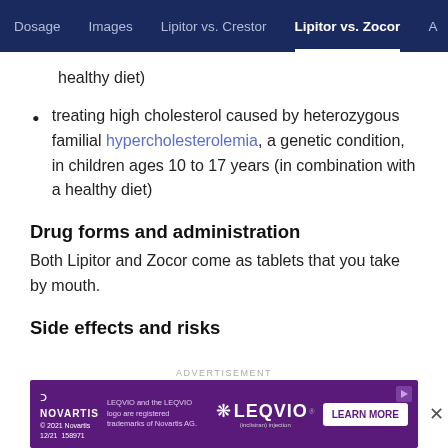Dosage | Images | Lipitor vs. Crestor | Lipitor vs. Zocor
healthy diet)
treating high cholesterol caused by heterozygous familial hypercholesterolemia, a genetic condition, in children ages 10 to 17 years (in combination with a healthy diet)
Drug forms and administration
Both Lipitor and Zocor come as tablets that you take by mouth.
Side effects and risks
[Figure (other): Novartis LEQVIO advertisement banner with purple background, Novartis logo, LEQVIO branding, and LEARN MORE button]